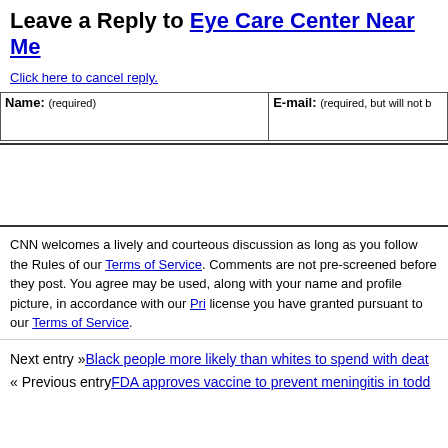Leave a Reply to Eye Care Center Near Me
Click here to cancel reply.
| Name: (required) | E-mail: (required, but will not be published) |
| --- | --- |
|  |  |
CNN welcomes a lively and courteous discussion as long as you follow the Rules of Conduct set out in our Terms of Service. Comments are not pre-screened before they post. You agree that anything you post may be used, along with your name and profile picture, in accordance with our Privacy Policy and the license you have granted pursuant to our Terms of Service.
Next entry »Black people more likely than whites to spend with death
« Previous entryFDA approves vaccine to prevent meningitis in toddlers